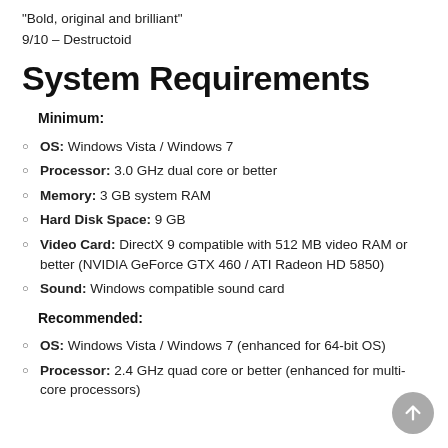"Bold, original and brilliant"
9/10 – Destructoid
System Requirements
Minimum:
OS: Windows Vista / Windows 7
Processor: 3.0 GHz dual core or better
Memory: 3 GB system RAM
Hard Disk Space: 9 GB
Video Card: DirectX 9 compatible with 512 MB video RAM or better (NVIDIA GeForce GTX 460 / ATI Radeon HD 5850)
Sound: Windows compatible sound card
Recommended:
OS: Windows Vista / Windows 7 (enhanced for 64-bit OS)
Processor: 2.4 GHz quad core or better (enhanced for multi-core processors)